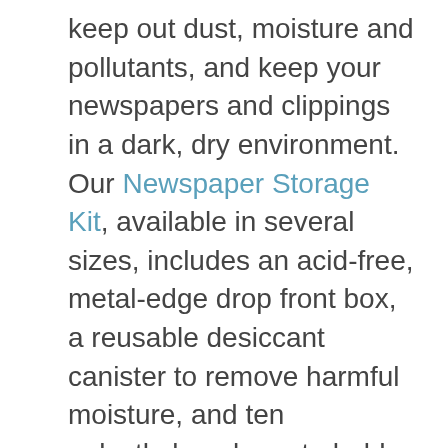keep out dust, moisture and pollutants, and keep your newspapers and clippings in a dark, dry environment. Our Newspaper Storage Kit, available in several sizes, includes an acid-free, metal-edge drop front box, a reusable desiccant canister to remove harmful moisture, and ten polyethylene bags to hold individual newspapers.